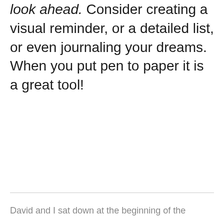look ahead. Consider creating a visual reminder, or a detailed list, or even journaling your dreams. When you put pen to paper it is a great tool!
David and I sat down at the beginning of the